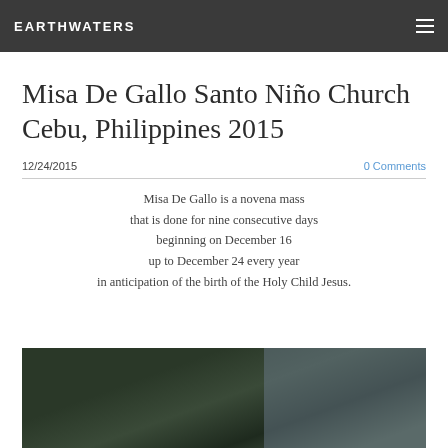EARTHWATERS
Misa De Gallo Santo Niño Church Cebu, Philippines 2015
12/24/2015   0 Comments
Misa De Gallo is a novena mass that is done for nine consecutive days beginning on December 16 up to December 24 every year in anticipation of the birth of the Holy Child Jesus.
[Figure (photo): Outdoor photo showing dark green foliage in foreground with a building visible in the background, people gathered near the church]